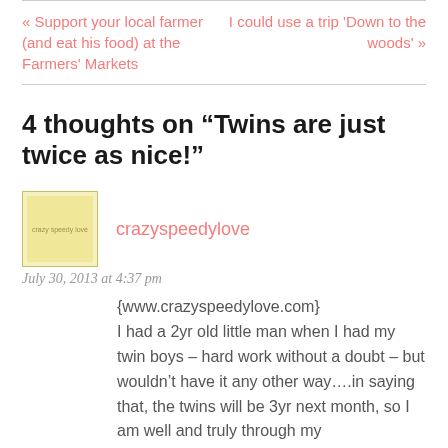« Support your local farmer (and eat his food) at the Farmers' Markets
I could use a trip 'Down to the woods' »
4 thoughts on “Twins are just twice as nice!”
crazyspeedylove
July 30, 2013 at 4:37 pm
{www.crazyspeedylove.com} I had a 2yr old little man when I had my twin boys – hard work without a doubt – but wouldn’t have it any other way….in saying that, the twins will be 3yr next month, so I am well and truly through my